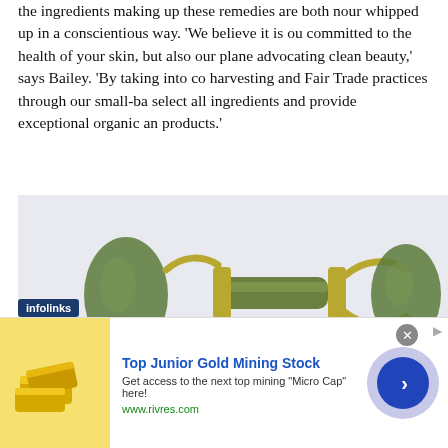the ingredients making up these remedies are both nour whipped up in a conscientious way. 'We believe it is ou committed to the health of your skin, but also our plane advocating clean beauty,' says Bailey. 'By taking into co harvesting and Fair Trade practices through our small-ba select all ingredients and provide exceptional organic an products.'
[Figure (photo): A jade facial roller with green oval stones on each end connected by a gold metal frame with a handle, photographed against a light gray background.]
[Figure (screenshot): An advertisement banner for 'Top Junior Gold Mining Stock' from rivres.com with an image of gold bars, text 'Get access to the next top mining Micro Cap here!', and a circular blue play/arrow button. The 'infolinks' branding label appears at the top left of the ad area.]